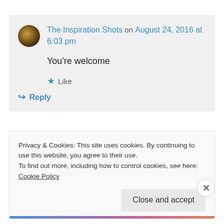The Inspiration Shots on August 24, 2016 at 6:03 pm
You're welcome
★ Like
↪ Reply
Privacy & Cookies: This site uses cookies. By continuing to use this website, you agree to their use.
To find out more, including how to control cookies, see here: Cookie Policy
Close and accept